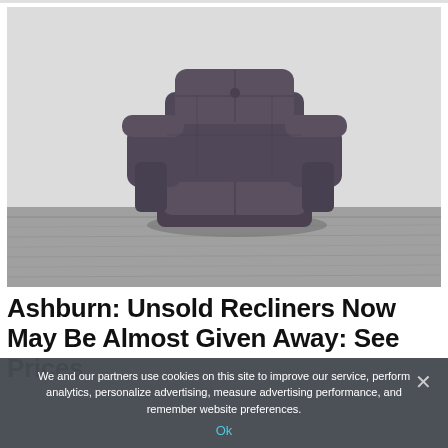[Figure (photo): A dark brown/dark grey leather recliner chair photographed against a light grey/white wall background, sitting on a shaggy grey carpet. The chair is angled slightly to the right.]
Ashburn: Unsold Recliners Now May Be Almost Given Away: See Prices
We and our partners use cookies on this site to improve our service, perform analytics, personalize advertising, measure advertising performance, and remember website preferences.
Ok